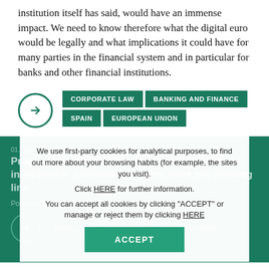institution itself has said, would have an immense impact. We need to know therefore what the digital euro would be legally and what implications it could have for many parties in the financial system and in particular for banks and other financial institutions.
CORPORATE LAW
BANKING AND FINANCE
SPAIN
EUROPEAN UNION
We use first-party cookies for analytical purposes, to find out more about your browsing habits (for example, the sites you visit). Click HERE for further information. You can accept all cookies by clicking "ACCEPT" or manage or reject them by clicking HERE
ACCEPT
Proposal for a regulation on the use of artificial intelligence: fundamental rights mark the dividing line
Post from Garrigues' Intellectual Property blog.
INTELLECTUAL PROPERTY
EUROPEAN UNION